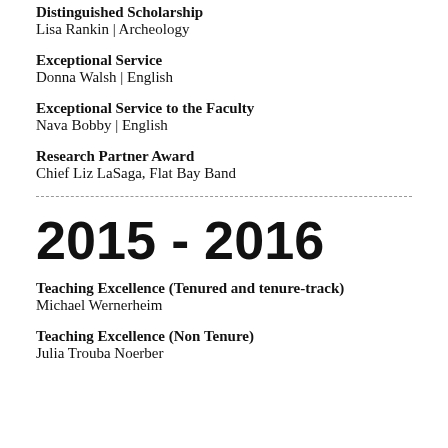Distinguished Scholarship
Lisa Rankin | Archeology
Exceptional Service
Donna Walsh | English
Exceptional Service to the Faculty
Nava Bobby | English
Research Partner Award
Chief Liz LaSaga, Flat Bay Band
2015 - 2016
Teaching Excellence (Tenured and tenure-track)
Michael Wernerheim
Teaching Excellence (Non Tenure)
Julia Trouba Noerber